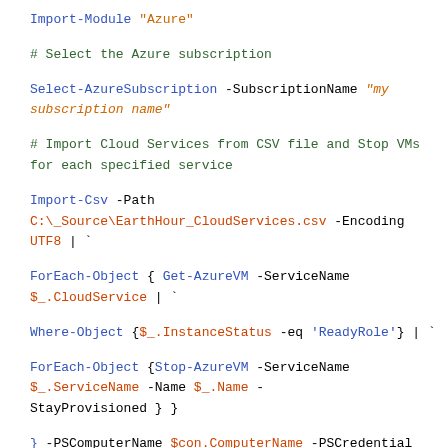Import-Module "Azure"
# Select the Azure subscription
Select-AzureSubscription -SubscriptionName "my subscription name"
# Import Cloud Services from CSV file and Stop VMs for each specified service
Import-Csv -Path C:\_Source\EarthHour_CloudServices.csv -Encoding UTF8 | `
ForEach-Object { Get-AzureVM -ServiceName $_.CloudService | `
Where-Object {$_.InstanceStatus -eq 'ReadyRole'} | `
ForEach-Object {Stop-AzureVM -ServiceName $_.ServiceName -Name $_.Name -StayProvisioned } }
} -PSComputerName $con.ComputerName -PSCredential $cred
}